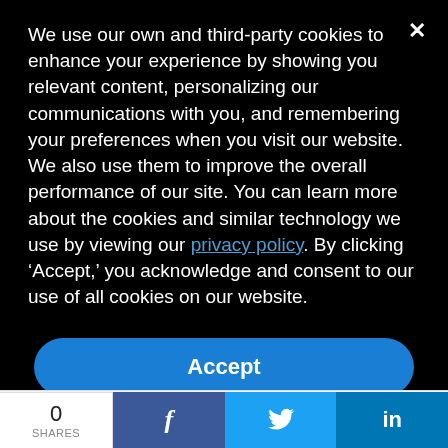We use our own and third-party cookies to enhance your experience by showing you relevant content, personalizing our communications with you, and remembering your preferences when you visit our website. We also use them to improve the overall performance of our site. You can learn more about the cookies and similar technology we use by viewing our privacy policy. By clicking ‘Accept,’ you acknowledge and consent to our use of all cookies on our website.
Accept
The term actionable intelligence has joined the ranks of threat
0
SHARES
f
🐦
in